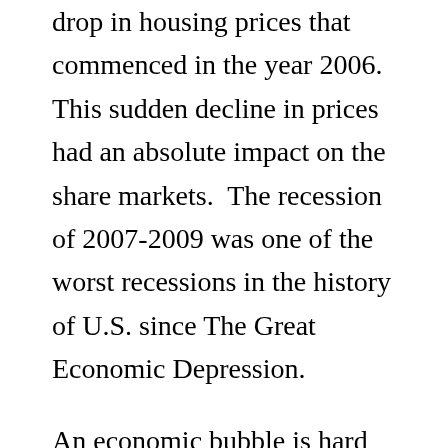drop in housing prices that commenced in the year 2006. This sudden decline in prices had an absolute impact on the share markets.  The recession of 2007-2009 was one of the worst recessions in the history of U.S. since The Great Economic Depression.
An economic bubble is hard to identify. Several economists argued that a housing bubble existed in U.S. led by numerous economic and cultural factors. Professor Shiller published a book “Irrational